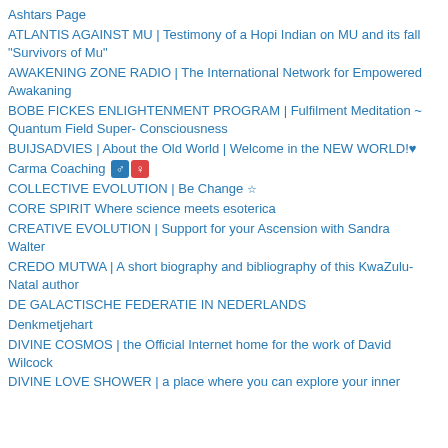Ashtars Page
ATLANTIS AGAINST MU | Testimony of a Hopi Indian on MU and its fall "Survivors of Mu"
AWAKENING ZONE RADIO | The International Network for Empowered Awakaning
BOBE FICKES ENLIGHTENMENT PROGRAM | Fulfilment Meditation ~ Quantum Field Super- Consciousness
BUIJSADVIES | About the Old World | Welcome in the NEW WORLD!♥
Carma Coaching ♂ ♀
COLLECTIVE EVOLUTION | Be Change ☆
CORE SPIRIT Where science meets esoterica
CREATIVE EVOLUTION | Support for your Ascension with Sandra Walter
CREDO MUTWA | A short biography and bibliography of this KwaZulu-Natal author
DE GALACTISCHE FEDERATIE IN NEDERLANDS
Denkmetjehart
DIVINE COSMOS | the Official Internet home for the work of David Wilcock
DIVINE LOVE SHOWER | a place where you can explore your inner